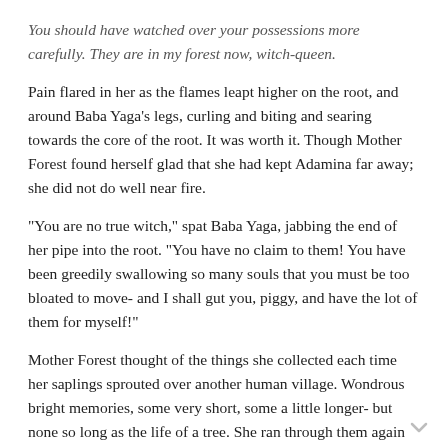You should have watched over your possessions more carefully. They are in my forest now, witch-queen.
Pain flared in her as the flames leapt higher on the root, and around Baba Yaga’s legs, curling and biting and searing towards the core of the root. It was worth it. Though Mother Forest found herself glad that she had kept Adamina far away; she did not do well near fire.
“You are no true witch,” spat Baba Yaga, jabbing the end of her pipe into the root. “You have no claim to them! You have been greedily swallowing so many souls that you must be too bloated to move- and I shall gut you, piggy, and have the lot of them for myself!”
Mother Forest thought of the things she collected each time her saplings sprouted over another human village. Wondrous bright memories, some very short, some a little longer- but none so long as the life of a tree. She ran through them again and again until they became faded and colorless, like a much-loved blanket. She spread them generously through her roots to let her children feed on them, so that they, too, would feel that quickening urge to stop being so